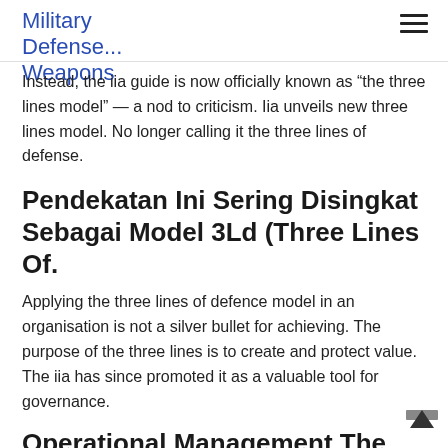Military Defense... Weapons
Instead, the iia guide is now officially known as “the three lines model” — a nod to criticism. Iia unveils new three lines model. No longer calling it the three lines of defense.
Pendekatan Ini Sering Disingkat Sebagai Model 3Ld (Three Lines Of.
Applying the three lines of defence model in an organisation is not a silver bullet for achieving. The purpose of the three lines is to create and protect value. The iia has since promoted it as a valuable tool for governance.
Operational Management The Three Lines Of Defense Model